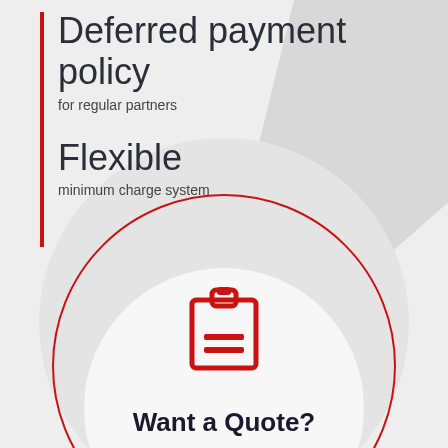Deferred payment policy
for regular partners
Flexible
minimum charge system
[Figure (illustration): Red clipboard/notepad icon with two horizontal lines representing text]
Want a Quote?